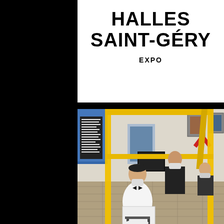HALLES SAINT-GÉRY
EXPO
[Figure (photo): Interior exhibition space at Halles Saint-Géry showing people seated and standing in a gallery with yellow metal frame structure in foreground, artworks on walls, blue panels visible, people wearing masks]